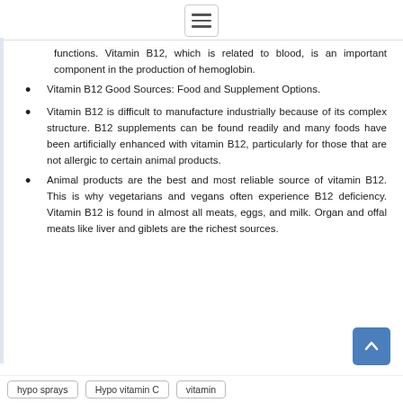☰
functions. Vitamin B12, which is related to blood, is an important component in the production of hemoglobin.
Vitamin B12 Good Sources: Food and Supplement Options.
Vitamin B12 is difficult to manufacture industrially because of its complex structure. B12 supplements can be found readily and many foods have been artificially enhanced with vitamin B12, particularly for those that are not allergic to certain animal products.
Animal products are the best and most reliable source of vitamin B12. This is why vegetarians and vegans often experience B12 deficiency. Vitamin B12 is found in almost all meats, eggs, and milk. Organ and offal meats like liver and giblets are the richest sources.
hypo sprays  Hypo vitamin C  vitamin